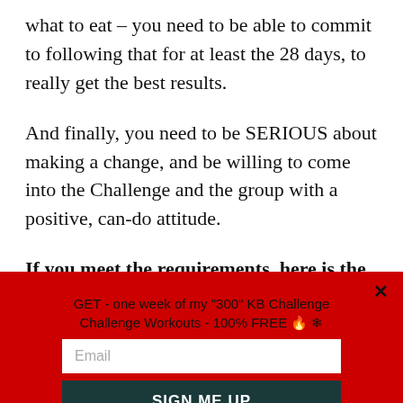what to eat – you need to be able to commit to following that for at least the 28 days, to really get the best results.
And finally, you need to be SERIOUS about making a change, and be willing to come into the Challenge and the group with a positive, can-do attitude.
If you meet the requirements, here is the link for more details, and to lock in your spot:
GET - one week of my "300" KB Challenge Challenge Workouts - 100% FREE 🔥 ❄
SIGN ME UP